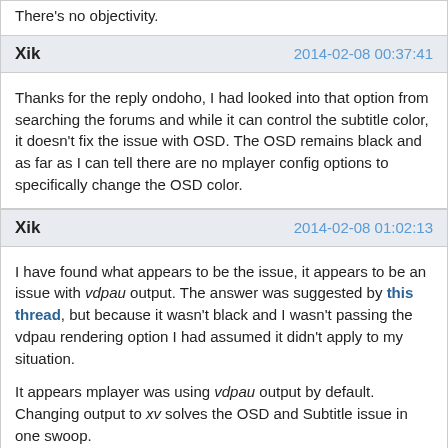There's no objectivity.
Xik   2014-02-08 00:37:41
Thanks for the reply ondoho, I had looked into that option from searching the forums and while it can control the subtitle color, it doesn't fix the issue with OSD. The OSD remains black and as far as I can tell there are no mplayer config options to specifically change the OSD color.
Xik   2014-02-08 01:02:13
I have found what appears to be the issue, it appears to be an issue with vdpau output. The answer was suggested by this thread, but because it wasn't black and I wasn't passing the vdpau rendering option I had assumed it didn't apply to my situation.

It appears mplayer was using vdpau output by default. Changing output to xv solves the OSD and Subtitle issue in one swoop.

This can be achieved by changing the video output via the command line or by specifying it in the config file.

Command Line: